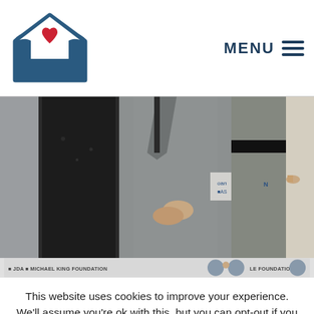Logo — hands forming a heart shape with a red heart inside — and MENU navigation
[Figure (photo): Group of people standing in formal attire at an event, partially cropped showing torsos and lower body; man in center wearing a grey suit with hands clasped; banner visible in background]
[Figure (photo): Thumbnail strip showing smaller event photos with text: JDA, Michael King Foundation, Le Foundation]
This website uses cookies to improve your experience. We'll assume you're ok with this, but you can opt-out if you wish.
ACCEPT   Read More